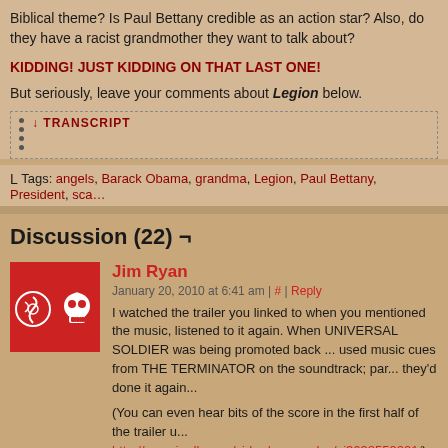Biblical theme? Is Paul Bettany credible as an action star? Also, do they have a racist grandmother they want to talk about?
KIDDING! JUST KIDDING ON THAT LAST ONE!
But seriously, leave your comments about Legion below.
↓ TRANSCRIPT
Tags: angels, Barack Obama, grandma, Legion, Paul Bettany, President, sca...
Discussion (22) ¬
Jim Ryan
January 20, 2010 at 6:41 am | # | Reply
I watched the trailer you linked to when you mentioned the music, listened to it again. When UNIVERSAL SOLDIER was being promoted back ... used music cues from THE TERMINATOR on the soundtrack; par... they'd done it again...
(You can even hear bits of the score in the first half of the trailer u... http://www.imdb.com/video/screenplay/vi3638559001/)
As for LEGION, after I heard the following piece of music to the ol... problems taking it seriously: